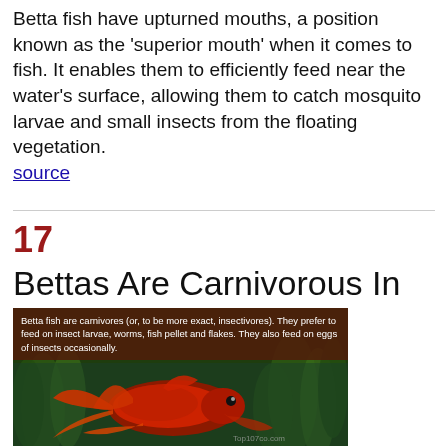Betta fish have upturned mouths, a position known as the 'superior mouth' when it comes to fish. It enables them to efficiently feed near the water's surface, allowing them to catch mosquito larvae and small insects from the floating vegetation.
source
17
Bettas Are Carnivorous In Nature
[Figure (photo): Photo of a red betta fish in an aquarium with green plants. Overlay caption reads: Betta fish are carnivores (or, to be more exact, insectivores). They prefer to feed on insect larvae, worms, fish pellet and flakes. They also feed on eggs of insects occasionally. Watermark: Top107co.com]